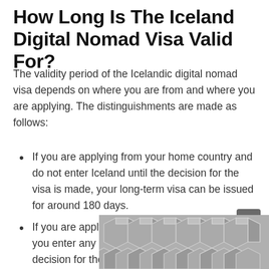How Long Is The Iceland Digital Nomad Visa Valid For?
The validity period of the Icelandic digital nomad visa depends on where you are from and where you are applying. The distinguishments are made as follows:
If you are applying from your home country and do not enter Iceland until the decision for the visa is made, your long-term visa can be issued for around 180 days.
If you are applying from your home country but you enter any Schengen country before the decision for the visa is made, your long-term visa will be issued for 180 days minus the days you spent in the other Schengen country.
If you...